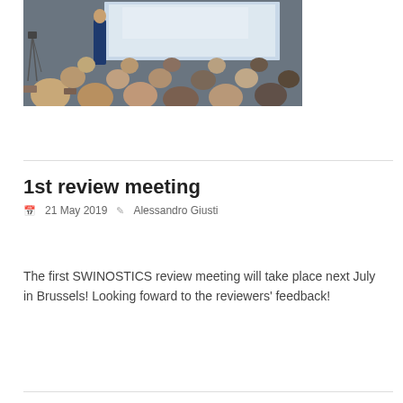[Figure (photo): Conference meeting scene: a speaker stands at a podium in front of a large screen, with rows of audience members seated with their backs to the camera.]
1st review meeting
21 May 2019    Alessandro Giusti
The first SWINOSTICS review meeting will take place next July in Brussels! Looking foward to the reviewers' feedback!